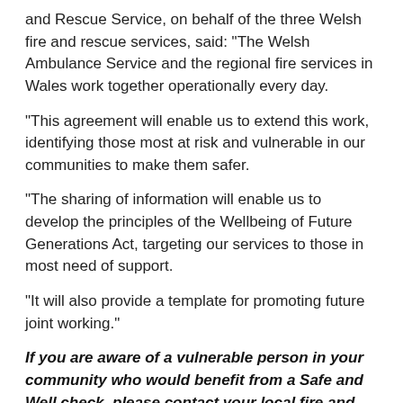and Rescue Service, on behalf of the three Welsh fire and rescue services, said: “The Welsh Ambulance Service and the regional fire services in Wales work together operationally every day.
“This agreement will enable us to extend this work, identifying those most at risk and vulnerable in our communities to make them safer.
“The sharing of information will enable us to develop the principles of the Wellbeing of Future Generations Act, targeting our services to those in most need of support.
“It will also provide a template for promoting future joint working.”
If you are aware of a vulnerable person in your community who would benefit from a Safe and Well check, please contact your local fire and rescue service.
llanblogger at 6:50 AM